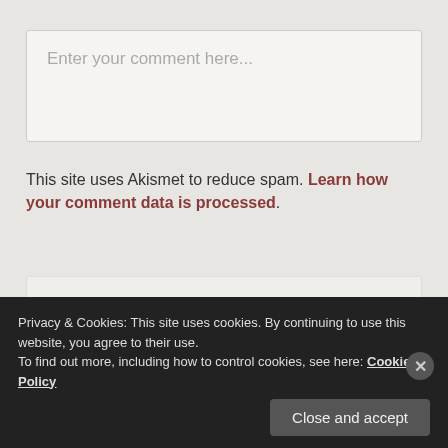Enter your comment here...
This site uses Akismet to reduce spam. Learn how your comment data is processed.
PREVIOUS
Kingdom Hearts 1.5 HD Remix is in development
Privacy & Cookies: This site uses cookies. By continuing to use this website, you agree to their use.
To find out more, including how to control cookies, see here: Cookie Policy
Close and accept